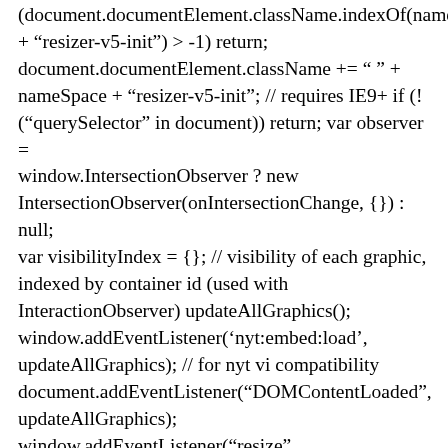(document.documentElement.className.indexOf(nameSpace + "resizer-v5-init") > -1) return; document.documentElement.className += " " + nameSpace + "resizer-v5-init"; // requires IE9+ if (!("querySelector" in document)) return; var observer = window.IntersectionObserver ? new IntersectionObserver(onIntersectionChange, {}) : null; var visibilityIndex = {}; // visibility of each graphic, indexed by container id (used with InteractionObserver) updateAllGraphics(); window.addEventListener('nyt:embed:load', updateAllGraphics); // for nyt vi compatibility document.addEventListener("DOMContentLoaded", updateAllGraphics); window.addEventListener("resize", throttle(updateAllGraphics, 200)); function updateAllGraphics() { selectElements(".ai2html-box-v5").forEach(updateGraphic); if (scriptEnvironment == "nyt-preview") { nytOnResize(); } } function updateGraphic(container) { var artboards =